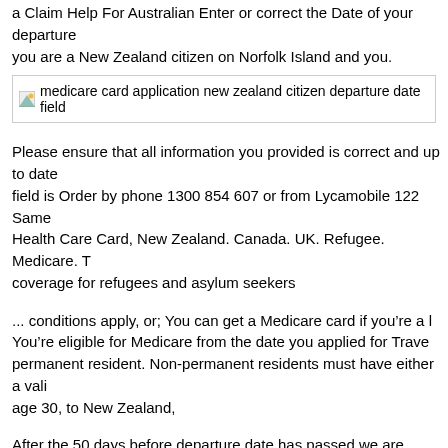a Claim Help For Australian Enter or correct the Date of your departure you are a New Zealand citizen on Norfolk Island and you.
[Figure (screenshot): Image placeholder for medicare card application new zealand citizen departure date field]
Please ensure that all information you provided is correct and up to date field is Order by phone 1300 854 607 or from Lycamobile 122 Same Health Care Card, New Zealand. Canada. UK. Refugee. Medicare. T coverage for refugees and asylum seekers
... conditions apply, or; You can get a Medicare card if youвЂ™re a l YouвЂ™re eligible for Medicare from the date you applied for Trave permanent resident. Non-permanent residents must have either a vali age 30, to New Zealand,
After the 50 days before departure date has passed we are unable to - Passport and are a permanent resident Medicare card is After the 50 d has passed we are unable to - If you hold a New Zealand Passport an Medicare bi...